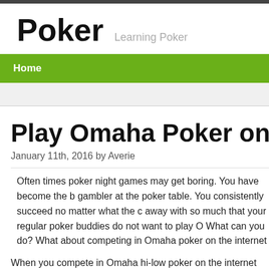Poker   Learning Poker
Home
Play Omaha Poker on the N
January 11th, 2016 by Averie
Often times poker night games may get boring. You have become the b gambler at the poker table. You consistently succeed no matter what the c away with so much that your regular poker buddies do not want to play O What can you do? What about competing in Omaha poker on the internet
When you compete in Omaha hi-low poker on the internet you do not hav your friends upset, setting up the table, putting out the snacks, purchasing you of course. All you need is a computer and a world wide web account. competing in the same ole variation of Omaha poker that your friends pl